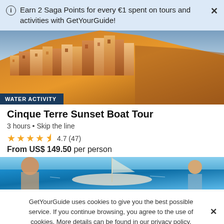Earn 2 Saga Points for every €1 spent on tours and activities with GetYourGuide!
[Figure (photo): Aerial photo of colorful buildings on a clifftop in Cinque Terre, Italy at sunset with warm golden and orange tones]
WATER ACTIVITY
Cinque Terre Sunset Boat Tour
3 hours • Skip the line
★★★★½ 4.7 (47)
From US$ 149.50 per person
[Figure (photo): Photo of people on a boat with blue water and sunshine, sailing near Cinque Terre]
GetYourGuide uses cookies to give you the best possible service. If you continue browsing, you agree to the use of cookies. More details can be found in our privacy policy.